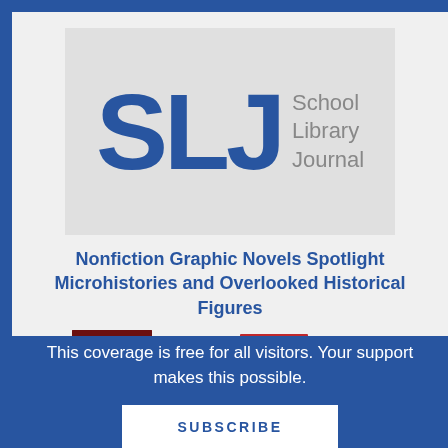[Figure (logo): School Library Journal (SLJ) logo with large blue letters SLJ and gray text 'School Library Journal' on a light gray background]
Nonfiction Graphic Novels Spotlight Microhistories and Overlooked Historical Figures
[Figure (photo): Row of book covers partially visible including 'Soviet' and 'Rendezvous' titles]
This coverage is free for all visitors. Your support makes this possible.
SUBSCRIBE